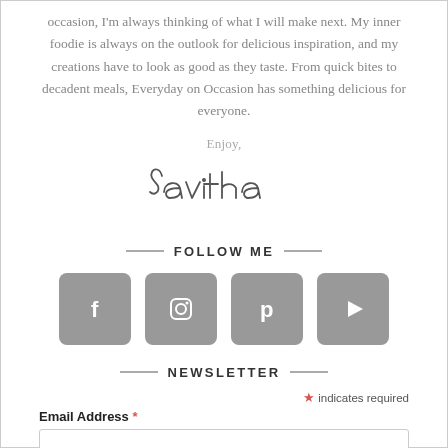occasion, I'm always thinking of what I will make next. My inner foodie is always on the outlook for delicious inspiration, and my creations have to look as good as they taste. From quick bites to decadent meals, Everyday on Occasion has something delicious for everyone.
Enjoy,
[Figure (illustration): Handwritten cursive signature reading 'Savitha']
FOLLOW ME
[Figure (infographic): Four social media icon buttons: Facebook (f), Instagram (camera), Pinterest (p), YouTube (play triangle) — each a grey rounded square]
NEWSLETTER
* indicates required
Email Address *